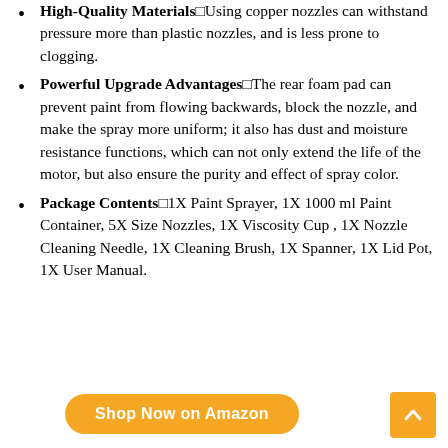High-Quality Materials□Using copper nozzles can withstand pressure more than plastic nozzles, and is less prone to clogging.
Powerful Upgrade Advantages□The rear foam pad can prevent paint from flowing backwards, block the nozzle, and make the spray more uniform; it also has dust and moisture resistance functions, which can not only extend the life of the motor, but also ensure the purity and effect of spray color.
Package Contents□1X Paint Sprayer, 1X 1000 ml Paint Container, 5X Size Nozzles, 1X Viscosity Cup , 1X Nozzle Cleaning Needle, 1X Cleaning Brush, 1X Spanner, 1X Lid Pot, 1X User Manual.
Shop Now on Amazon